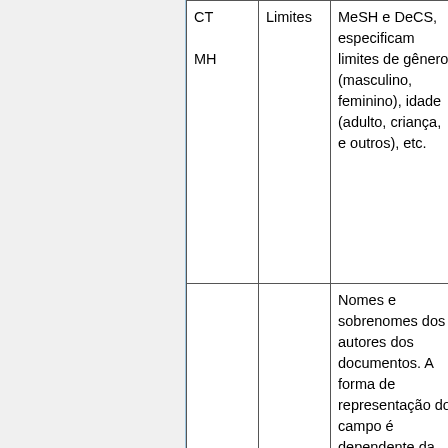| CT
MH | Limites | MeSH e DeCS, especificam limites de gênero (masculino, feminino), idade (adulto, criança, e outros), etc. | MH:"A Jovem |
|  |  | Nomes e sobrenomes dos autores dos documentos. A forma de representação do campo é dependente da base de |  |